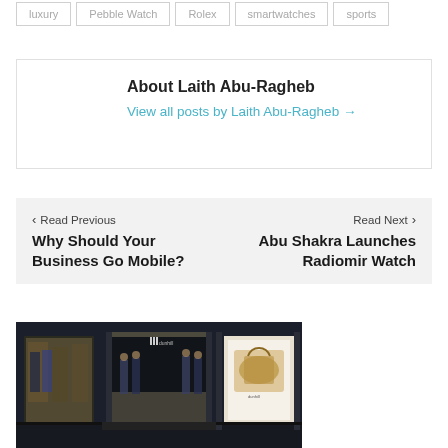luxury
Pebble Watch
Rolex
smartwatches
sports
About Laith Abu-Ragheb
View all posts by Laith Abu-Ragheb →
◄ Read Previous
Why Should Your Business Go Mobile?
Read Next ►
Abu Shakra Launches Radiomir Watch
[Figure (photo): Storefront of a dunhill luxury retail store with dark exterior, glass windows showing suits and clothing displays, and a bag advertisement in a light-box panel on the right side.]